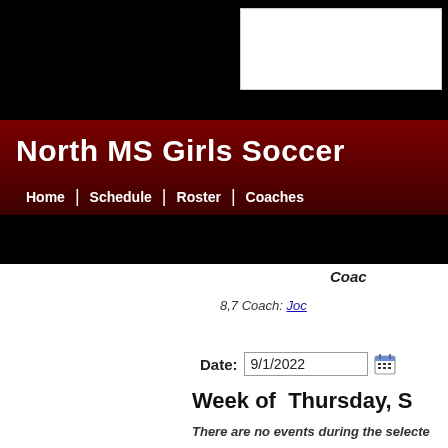North MS Girls Soccer
Home | Schedule | Roster | Coaches
Coaches
8,7 Coach: Joc
Date: 9/1/2022
Week of  Thursday, S
There are no events during the selecte